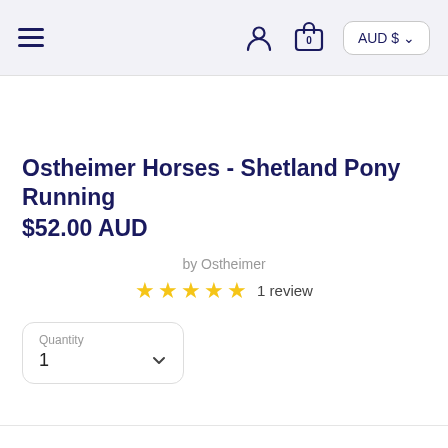≡  [user icon]  [bag icon] 0  AUD $ ∨
Ostheimer Horses - Shetland Pony Running
$52.00 AUD
by Ostheimer
★★★★★ 1 review
Quantity 1